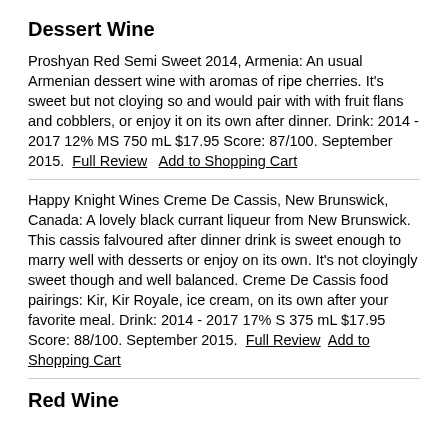Dessert Wine
Proshyan Red Semi Sweet 2014, Armenia: An usual Armenian dessert wine with aromas of ripe cherries. It's sweet but not cloying so and would pair with with fruit flans and cobblers, or enjoy it on its own after dinner. Drink: 2014 - 2017 12% MS 750 mL $17.95 Score: 87/100. September 2015.  Full Review   Add to Shopping Cart
Happy Knight Wines Creme De Cassis, New Brunswick, Canada: A lovely black currant liqueur from New Brunswick. This cassis falvoured after dinner drink is sweet enough to marry well with desserts or enjoy on its own. It's not cloyingly sweet though and well balanced. Creme De Cassis food pairings: Kir, Kir Royale, ice cream, on its own after your favorite meal. Drink: 2014 - 2017 17% S 375 mL $17.95 Score: 88/100. September 2015.  Full Review   Add to Shopping Cart
Red Wine